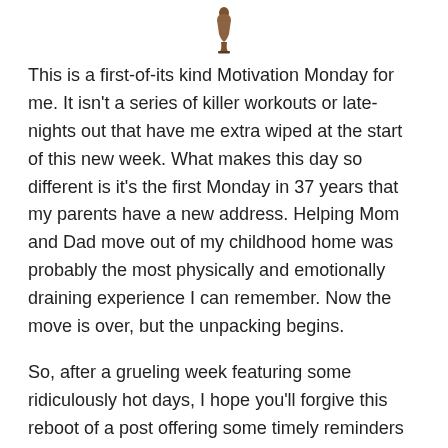[Figure (logo): Small decorative logo or icon at the top center of the page, brown/tan colored figure resembling a person or trophy shape]
This is a first-of-its kind Motivation Monday for me. It isn't a series of killer workouts or late-nights out that have me extra wiped at the start of this new week. What makes this day so different is it's the first Monday in 37 years that my parents have a new address. Helping Mom and Dad move out of my childhood home was probably the most physically and emotionally draining experience I can remember. Now the move is over, but the unpacking begins.
So, after a grueling week featuring some ridiculously hot days, I hope you'll forgive this reboot of a post offering some timely reminders about how to recognize heat-related illnesses: